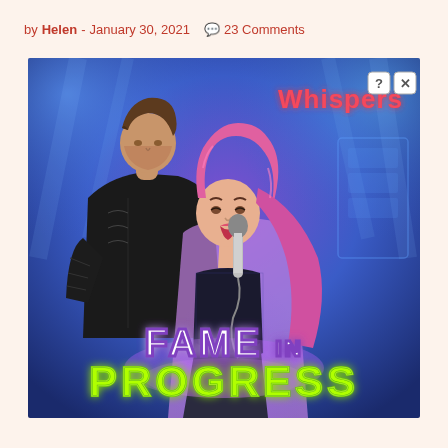by Helen - January 30, 2021  23 Comments
[Figure (illustration): Game promotional art for 'Fame in Progress' from Whispers app. Shows two animated characters: a man in a black leather jacket whispering to a woman with long pink hair wearing a black crop top and purple jacket, holding a microphone. Blue concert lighting background. 'Whispers' logo in red/pink text top right. '?' and 'X' buttons in top right corner. 'FAME IN PROGRESS' text at bottom in neon yellow-green and white letters.]